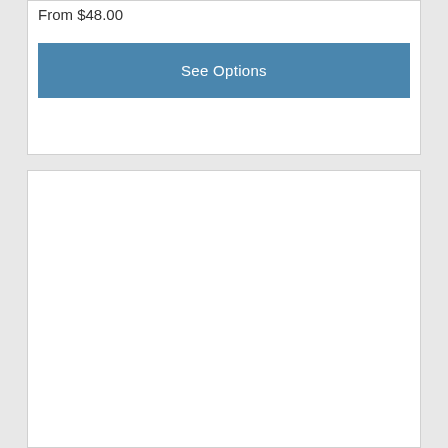From $48.00
See Options
[Figure (other): Empty white card/panel below the product card]